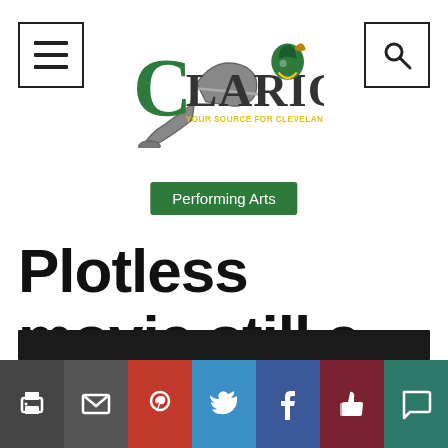Clarion — Your source for Cleveland Phoenix news
Performing Arts
Plotless movie still a joy to watch
[Figure (photo): Dark image bar at bottom of article header]
Social share buttons: Print, Email, Pinterest, Twitter, Facebook, Like, Comment